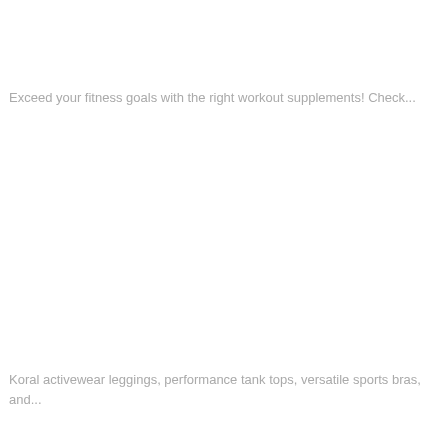Exceed your fitness goals with the right workout supplements! Check...
Koral activewear leggings, performance tank tops, versatile sports bras, and...